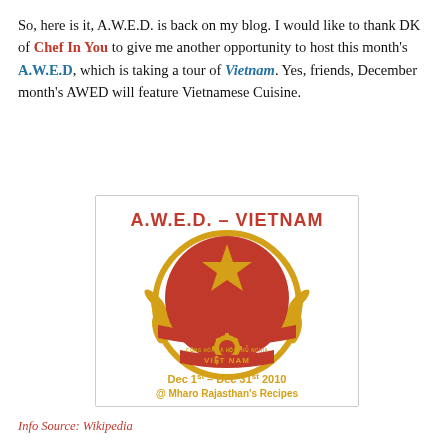So, here is it, A.W.E.D. is back on my blog. I would like to thank DK of Chef In You to give me another opportunity to host this month's A.W.E.D, which is taking a tour of Vietnam. Yes, friends, December month's AWED will feature Vietnamese Cuisine.
[Figure (illustration): A.W.E.D. - VIETNAM promotional image featuring the Vietnamese national emblem (coat of arms with red circle, gold star, rice stalks, and gear) on a white background. Text reads: Dec 1st – Dec 31st 2010 @ Mharo Rajasthan's Recipes]
Info Source: Wikipedia